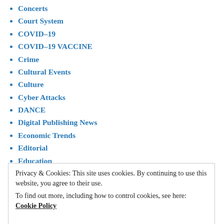Concerts
Court System
COVID-19
COVID-19 VACCINE
Crime
Cultural Events
Culture
Cyber Attacks
DANCE
Digital Publishing News
Economic Trends
Editorial
Education
Employment Techniques
Entertainment
Environment
Events
Privacy & Cookies: This site uses cookies. By continuing to use this website, you agree to their use.
To find out more, including how to control cookies, see here: Cookie Policy
FOOD